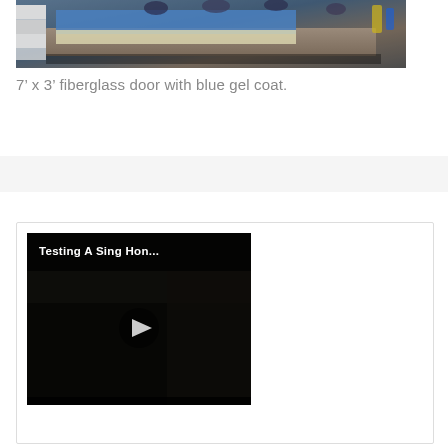[Figure (photo): Workers manufacturing a 7 by 3 foot fiberglass door with blue gel coat on a production table in a workshop setting.]
7’ x 3’ fiberglass door with blue gel coat.
[Figure (screenshot): Video thumbnail for 'Testing A Sing Hon...' showing a dark workshop scene with a YouTube-style play button overlay.]